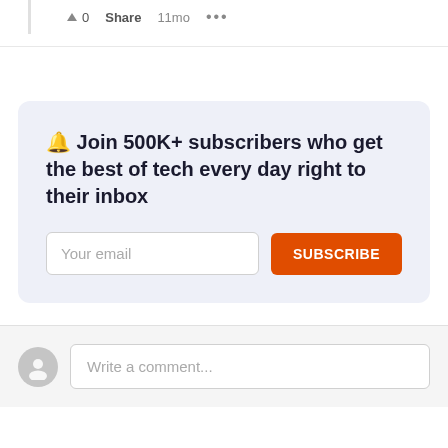▲ 0   Share   11mo   •••
🔔 Join 500K+ subscribers who get the best of tech every day right to their inbox
[Figure (screenshot): Email subscription form with 'Your email' input field and orange 'SUBSCRIBE' button]
Write a comment...